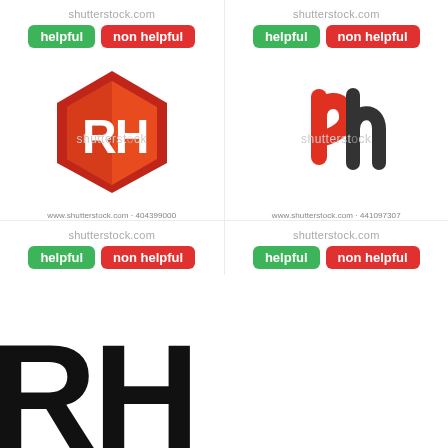[Figure (logo): Top-left cell: shutterstock.com watermark, helpful/non helpful buttons, RH hexagonal logo with orange-red gradient]
[Figure (logo): Top-right cell: shutterstock.com watermark, helpful/non helpful buttons, stylized rh letter logo in red and dark grey]
[Figure (logo): Bottom-left cell: shutterstock.com watermark, helpful/non helpful buttons]
[Figure (logo): Bottom-right cell: shutterstock.com watermark, helpful/non helpful buttons]
[Figure (logo): Bottom area: partially visible large black RH letters]